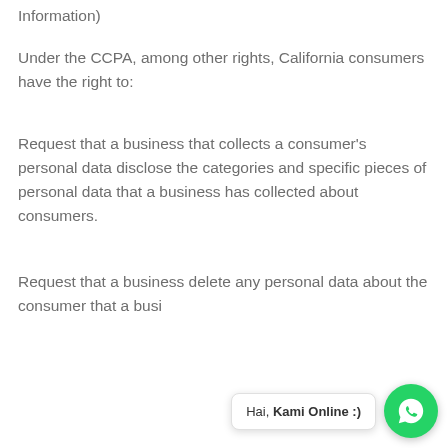Information)
Under the CCPA, among other rights, California consumers have the right to:
Request that a business that collects a consumer's personal data disclose the categories and specific pieces of personal data that a business has collected about consumers.
Request that a business delete any personal data about the consumer that a busi[ness has collected].